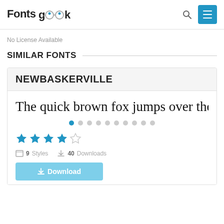Fonts geek
No License Available
SIMILAR FONTS
NEWBASKERVILLE
The quick brown fox jumps over the lazy
★★★★☆  9 Styles  40 Downloads
+ Download